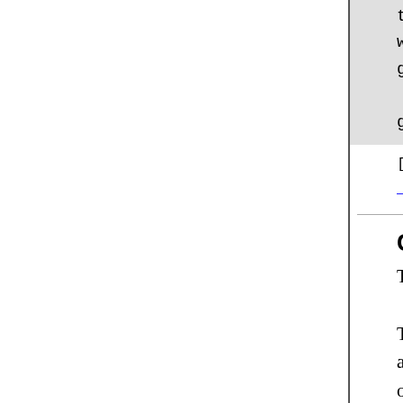tv.show()
window.show()
gobject.timeout_add(100, gtk.mai

gtk.main()
[ Posté le 5 mars 2015 à 22:14 | pas commentaire | lien permanent ]
Customized Debian Package
Traduction: [ Google | Babelfish ]
Catégories : [ Informatique
Today I switched from using xte (which I had been using for the past years at least) to using evilvte. The reason is that evilvte allows to click URLs and opens a new tab in Firef while xterm does not. Since Firef removed the --remote optio wmnetselect did not anymore allow to open a copied URL. Si wmnetselect has no been updated sin forever and has even been remov from Debian, the obitu...